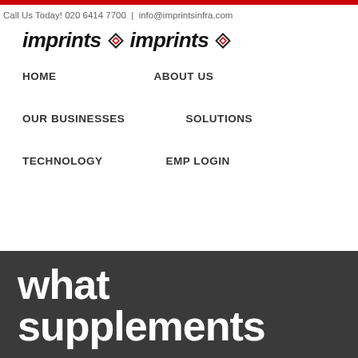Call Us Today! 020 6414 7700  |  info@imprintsinfra.com
[Figure (logo): Imprints Infra logo with diamond emblem icons, bold text reading 'imprints imprints']
HOME
ABOUT US
OUR BUSINESSES
SOLUTIONS
TECHNOLOGY
EMP LOGIN
what supplements